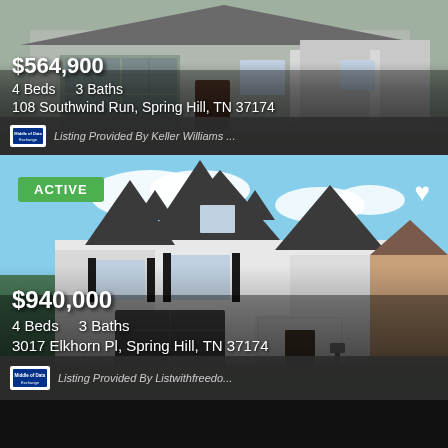[Figure (photo): Exterior photo of a grey ranch-style house at 108 Southwind Run, Spring Hill, TN]
$564,900
4 Beds   3 Baths
108 Southwind Run, Spring Hill, TN 37174
Listing Provided By Keller Williams ...
[Figure (photo): Exterior photo of a large white craftsman-style house at 3017 Elkhorn Pl, Spring Hill, TN]
ACTIVE
$940,000
4 Beds   3 Baths
3017 Elkhorn Pl, Spring Hill, TN 37174
Listing Provided By Listwithfreedo...